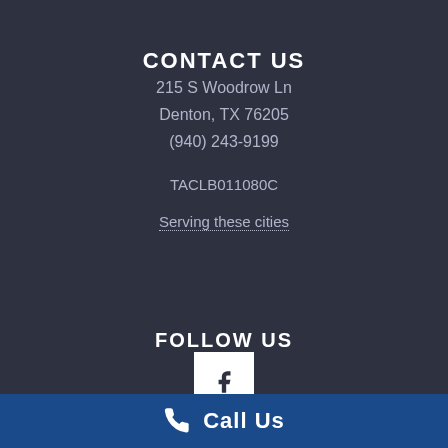CONTACT US
215 S Woodrow Ln
Denton, TX 76205
(940) 243-9199
TACLB011080C
Serving these cities
FOLLOW US
[Figure (other): Facebook and Twitter social media icon buttons (white squares with dark icons)]
Call Us